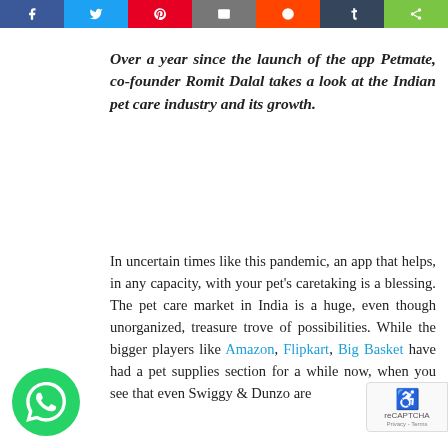[Figure (other): Social share button bar with icons for Facebook, Twitter, Pinterest, Email, Reddit, Tumblr, and Share]
Over a year since the launch of the app Petmate, co-founder Romit Dalal takes a look at the Indian pet care industry and its growth.
In uncertain times like this pandemic, an app that helps, in any capacity, with your pet's caretaking is a blessing. The pet care market in India is a huge, even though unorganized, treasure trove of possibilities. While the bigger players like Amazon, Flipkart, Big Basket have had a pet supplies section for a while now, when you see that even Swiggy & Dunzo are